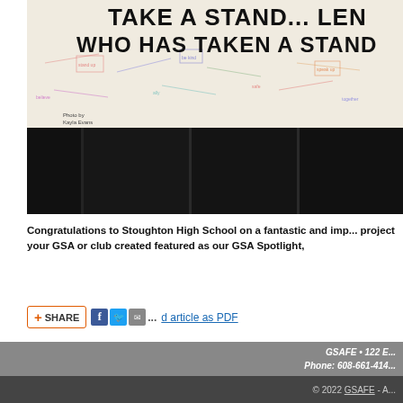[Figure (photo): Photo of a banner/poster reading 'TAKE A STAND... LEN... WHO HAS TAKEN A STAND' with colorful handwritten messages and signatures on white paper, mounted in what appears to a dark hallway or gymnasium. Photo credit to Kayla Evans.]
Congratulations to Stoughton High School on a fantastic and imp... project your GSA or club created featured as our GSA Spotlight,
SHARE [Facebook] [Twitter] [Email] [...] d article as PDF
GSAFE • 122 E...  Phone: 608-661-414...
© 2022 GSAFE - A...